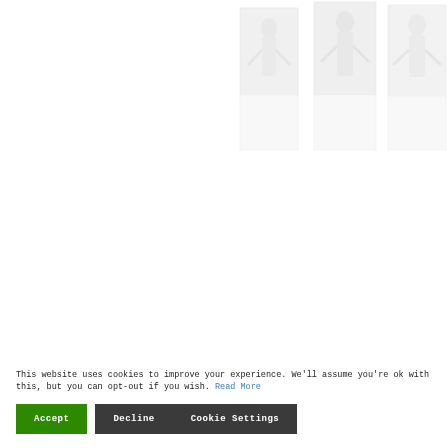[Figure (photo): Three faded/watermarked images arranged in the upper right portion of the page, showing silhouettes or light imagery of figures.]
This website uses cookies to improve your experience. We'll assume you're ok with this, but you can opt-out if you wish. Read More
Accept
Decline
Cookie Settings